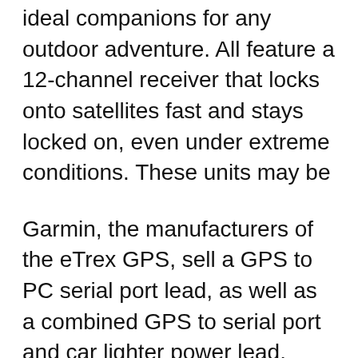ideal companions for any outdoor adventure. All feature a 12-channel receiver that locks onto satellites fast and stays locked on, even under extreme conditions. These units may be
Garmin, the manufacturers of the eTrex GPS, sell a GPS to PC serial port lead, as well as a combined GPS to serial port and car lighter power lead. Either of these leads can be used to either download data from the eTrex GPS, upload software updates to the eTrex GPS or to use it as a moving map or for other real time data purposes. View and Download Garmin ETrex owner's manual online. 12 channel GPS personal